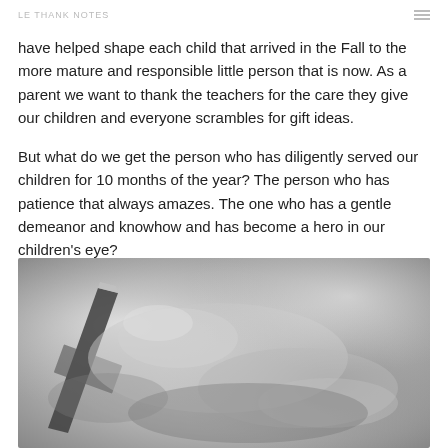LE THANK NOTES
have helped shape each child that arrived in the Fall to the more mature and responsible little person that is now. As a parent we want to thank the teachers for the care they give our children and everyone scrambles for gift ideas.
But what do we get the person who has diligently served our children for 10 months of the year? The person who has patience that always amazes. The one who has a gentle demeanor and knowhow and has become a hero in our children's eye?
[Figure (photo): Black and white close-up photo of a child's hand holding a pencil, writing or drawing, with an adult hand visible nearby]